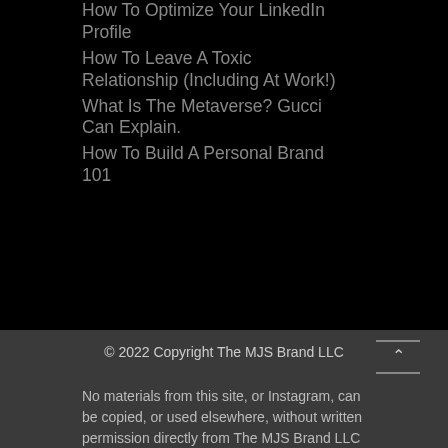How To Optimize Your LinkedIn Profile
How To Leave A Toxic Relationship (Including At Work!)
What Is The Metaverse? Gucci Can Explain.
How To Build A Personal Brand 101
© 2022 Copyright The MJS Brand LLC
No materials from this site, or Instagram, can be copied, or used elsewhere, without written permission directly from The MJS Brand LLC